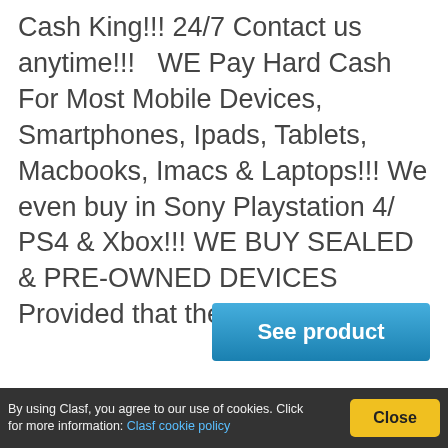Cash King!!! 24/7 Contact us anytime!!!   WE Pay Hard Cash For Most Mobile Devices, Smartphones, Ipads, Tablets, Macbooks, Imacs & Laptops!!! We even buy in Sony Playstation 4/ PS4 & Xbox!!! WE BUY SEALED & PRE-OWNED DEVICES Provided that they're in good
[Figure (other): Blue 'See product' button]
[Figure (logo): Clasf watermark logo with smartphone images in light grey]
By using Clasf, you agree to our use of cookies. Click for more information: Clasf cookie policy
[Figure (other): Yellow 'Close' button]